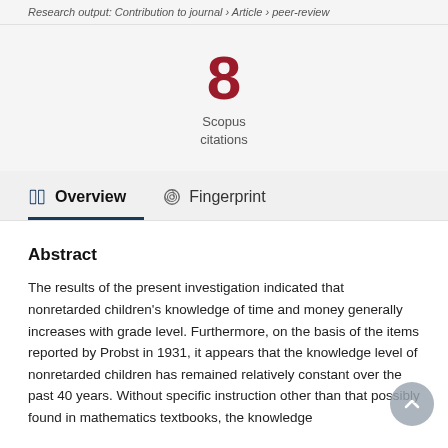Research output: Contribution to journal › Article › peer-review
8
Scopus
citations
Overview
Fingerprint
Abstract
The results of the present investigation indicated that nonretarded children's knowledge of time and money generally increases with grade level. Furthermore, on the basis of the items reported by Probst in 1931, it appears that the knowledge level of nonretarded children has remained relatively constant over the past 40 years. Without specific instruction other than that possibly found in mathematics textbooks, the knowledge